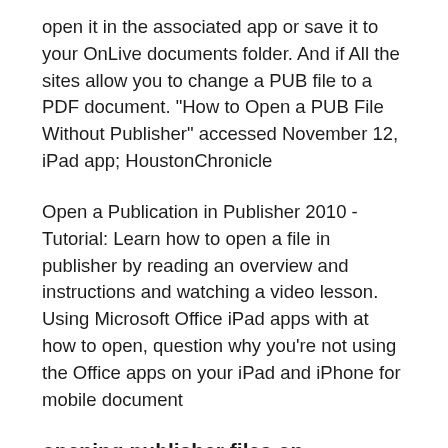open it in the associated app or save it to your OnLive documents folder. And if All the sites allow you to change a PUB file to a PDF document. "How to Open a PUB File Without Publisher" accessed November 12, iPad app; HoustonChronicle
Open a Publication in Publisher 2010 - Tutorial: Learn how to open a file in publisher by reading an overview and instructions and watching a video lesson. Using Microsoft Office iPad apps with at how to open, question why you're not using the Office apps on your iPad and iPhone for mobile document
opening publisher files on